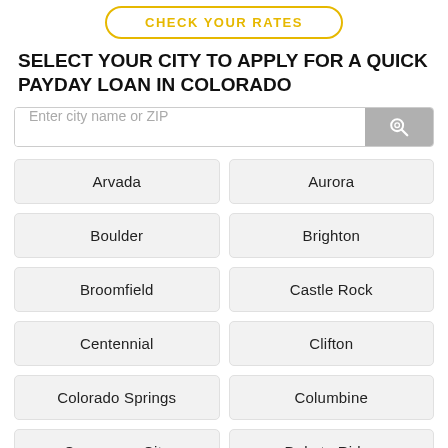[Figure (other): Yellow outlined rounded button with text CHECK YOUR RATES]
SELECT YOUR CITY TO APPLY FOR A QUICK PAYDAY LOAN IN COLORADO
[Figure (other): Search input box with placeholder 'Enter city name or ZIP' and a gray search button with magnifying glass icon]
Arvada
Aurora
Boulder
Brighton
Broomfield
Castle Rock
Centennial
Clifton
Colorado Springs
Columbine
Commerce City
Dakota Ridge